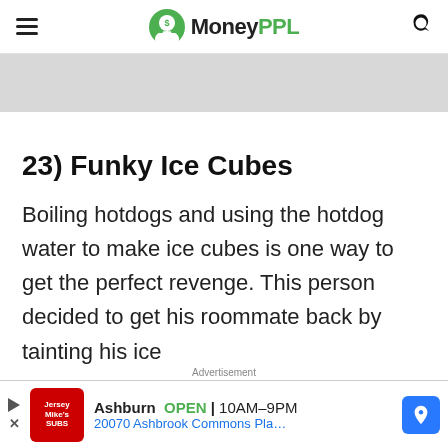MoneyPPL
[Figure (other): Gray advertisement banner placeholder]
23) Funky Ice Cubes
Boiling hotdogs and using the hotdog water to make ice cubes is one way to get the perfect revenge. This person decided to get his roommate back by tainting his ice
Advertisement
[Figure (other): Jersey Mike's Subs local ad: Ashburn OPEN 10AM-9PM, 20070 Ashbrook Commons Plaza, Un...]